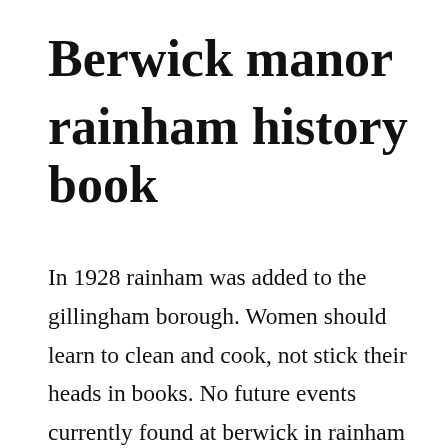Berwick manor rainham history book
In 1928 rainham was added to the gillingham borough. Women should learn to clean and cook, not stick their heads in books. No future events currently found at berwick in rainham view past events. The restaurant s facility includes more than five banquet rooms and a lounge. Rainham is a suburban town in east